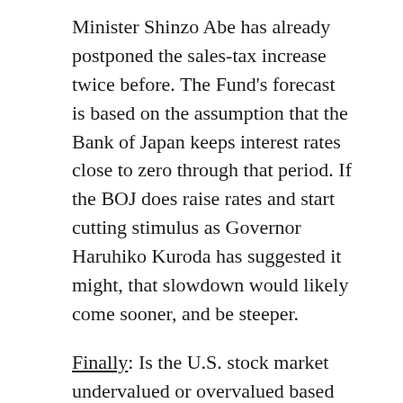Minister Shinzo Abe has already postponed the sales-tax increase twice before. The Fund's forecast is based on the assumption that the Bank of Japan keeps interest rates close to zero through that period. If the BOJ does raise rates and start cutting stimulus as Governor Haruhiko Kuroda has suggested it might, that slowdown would likely come sooner, and be steeper.
Finally: Is the U.S. stock market undervalued or overvalued based on its historical Price/Earnings (P/E) ratio? It turns out, the answer could be both! Market analyst Mark Hulbert wrote in a recent column for marketwatch.com that it all depends on how you calculate the measure. Some financial institutions calculate the current P/E ratio of the market based on its last 12-months of earnings (currently richly valued at 24.92), while others base it on the estimated next 12-